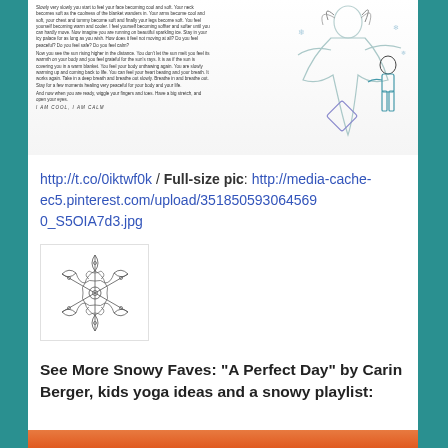[Figure (illustration): Illustration from a children's book showing a woman in white with flowing hair/clothing with arms outstretched, and a boy in blue clothing standing nearby, with text about relaxation/yoga on the left side and 'I AM COOL, I AM CALM' text at bottom]
http://t.co/0iktwf0k / Full-size pic: http://media-cache-ec5.pinterest.com/upload/351850593064569 0_S5OIA7d3.jpg
[Figure (illustration): Line drawing of a decorative snowflake with intricate swirling patterns]
See More Snowy Faves: "A Perfect Day" by Carin Berger, kids yoga ideas and a snowy playlist:
[Figure (illustration): Partial image visible at bottom of page with orange/red strip]